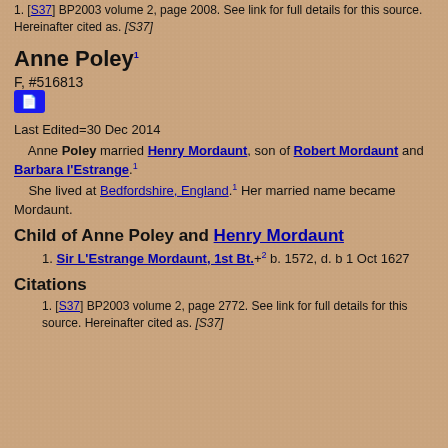1. [S37] BP2003 volume 2, page 2008. See link for full details for this source. Hereinafter cited as. [S37]
Anne Poley¹
F, #516813
Last Edited=30 Dec 2014
Anne Poley married Henry Mordaunt, son of Robert Mordaunt and Barbara l'Estrange.¹ She lived at Bedfordshire, England.¹ Her married name became Mordaunt.
Child of Anne Poley and Henry Mordaunt
Sir L'Estrange Mordaunt, 1st Bt.+² b. 1572, d. b 1 Oct 1627
Citations
1. [S37] BP2003 volume 2, page 2772. See link for full details for this source. Hereinafter cited as. [S37]